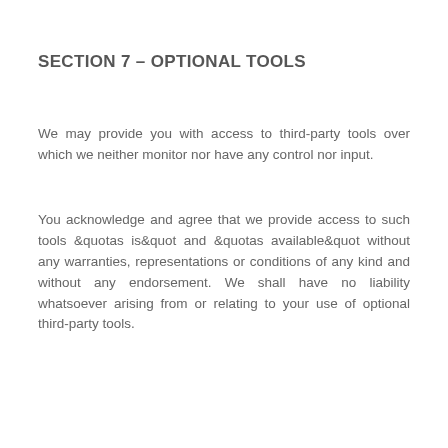SECTION 7 – OPTIONAL TOOLS
We may provide you with access to third-party tools over which we neither monitor nor have any control nor input.
You acknowledge and agree that we provide access to such tools &quotas is&quot and &quotas available&quot without any warranties, representations or conditions of any kind and without any endorsement. We shall have no liability whatsoever arising from or relating to your use of optional third-party tools.